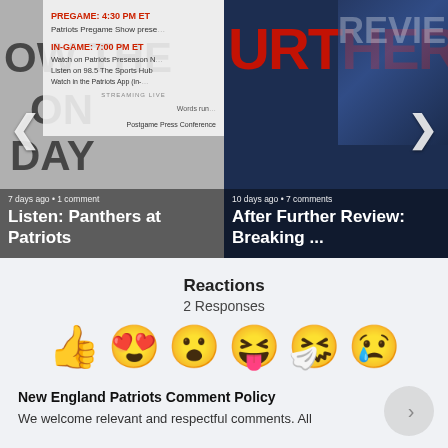[Figure (screenshot): Carousel card 1: Listen: Panthers at Patriots, 7 days ago • 1 comment]
[Figure (screenshot): Carousel card 2: After Further Review: Breaking ..., 10 days ago • 7 comments]
Reactions
2 Responses
[Figure (infographic): Row of 6 reaction emojis: thumbs up, heart eyes, wow face, laughing face, sneezing face, sad face with tear]
New England Patriots Comment Policy
We welcome relevant and respectful comments. All